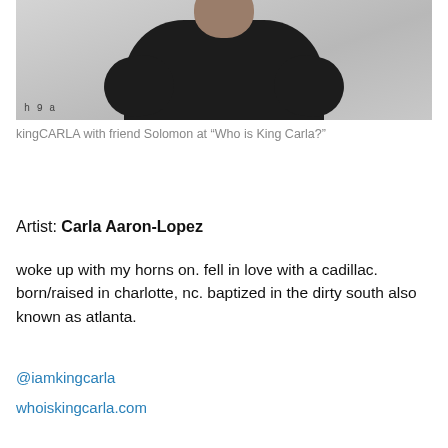[Figure (photo): A person wearing a black shirt standing in front of a light gray background. Handwritten doodles visible in bottom-left corner of photo.]
kingCARLA with friend Solomon at “Who is King Carla?”
Artist: Carla Aaron-Lopez
woke up with my horns on. fell in love with a cadillac. born/raised in charlotte, nc. baptized in the dirty south also known as atlanta.
@iamkingcarla
whoiskingcarla.com